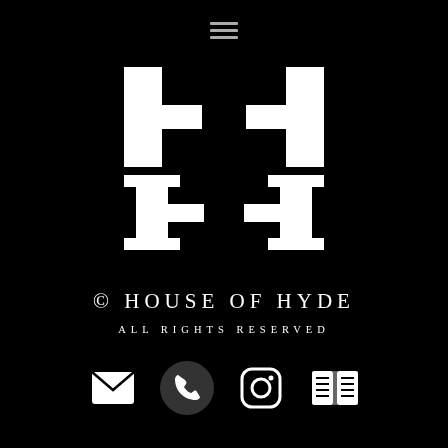[Figure (logo): House of Hyde logo — stylized double-H monogram in white on black background, with hamburger menu icons at top and bottom, copyright text, social media icons (email, phone, Instagram, book/menu)]
© HOUSE OF HYDE
ALL RIGHTS RESERVED